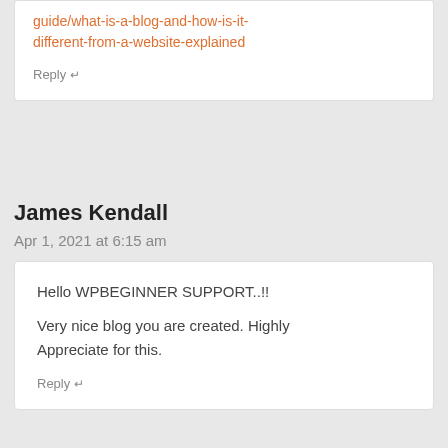guide/what-is-a-blog-and-how-is-it-different-from-a-website-explained
Reply ↵
James Kendall
Apr 1, 2021 at 6:15 am
Hello WPBEGINNER SUPPORT..!!
Very nice blog you are created. Highly Appreciate for this.
Reply ↵